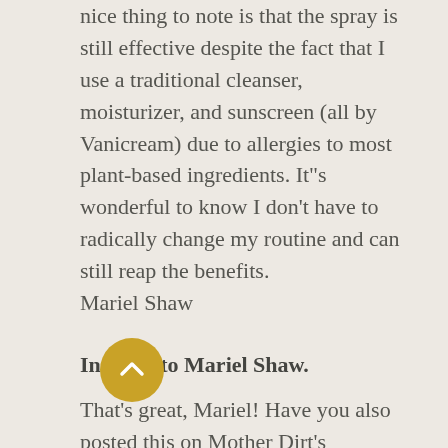nice thing to note is that the spray is still effective despite the fact that I use a traditional cleanser, moisturizer, and sunscreen (all by Vanicream) due to allergies to most plant-based ingredients. It"s wonderful to know I don't have to radically change my routine and can still reap the benefits.
Mariel Shaw
In reply to Mariel Shaw.
That's great, Mariel! Have you also posted this on Mother Dirt's FORUM? I'm sure they'd be interested too.
https://www.facebook.com/groups/Moth